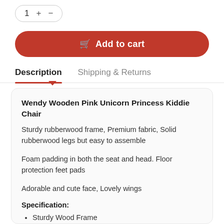[Figure (other): Quantity selector with +/- buttons, showing value 1]
[Figure (other): Red 'Add to cart' button with shopping cart icon]
Description
Shipping & Returns
Wendy Wooden Pink Unicorn Princess Kiddie Chair
Sturdy rubberwood frame, Premium fabric, Solid rubberwood legs but easy to assemble
Foam padding in both the seat and head. Floor protection feet pads
Adorable and cute face, Lovely wings
Specification:
Sturdy Wood Frame
Premium Textured PU Leather